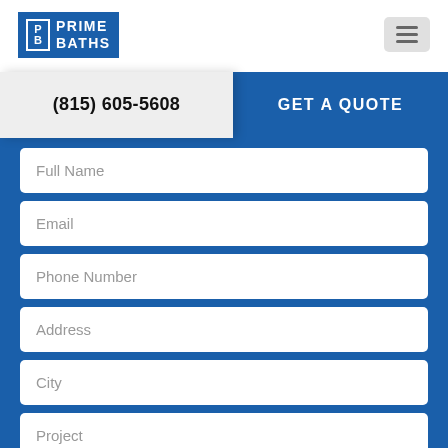[Figure (logo): Prime Baths logo — blue box with PB monogram and PRIME BATHS text in white]
(815) 605-5608
GET A QUOTE
Full Name
Email
Phone Number
Address
City
Project